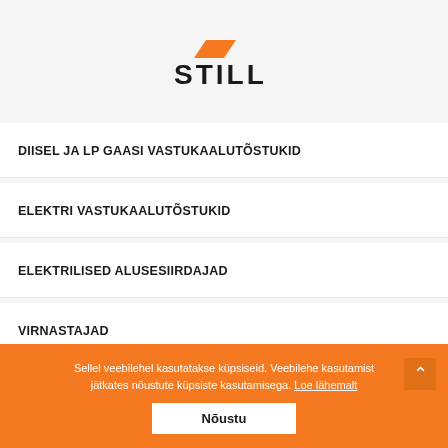[Figure (logo): STILL company logo with orange parallelogram shape above STILL text in bold black letters]
DIISEL JA LP GAASI VASTUKAALUTÕSTUKID
ELEKTRI VASTUKAALUTÕSTUKID
ELEKTRILISED ALUSESIIRDAJAD
VIRNASTAJAD
DOUBLE STACKER VIRNASTAJAD
Sellel veebilehel kasutatakse küpsiseid. Veebilehe kasutamist jätkates nõustute küpsiste kasutamisega. Loe lähemalt
Nõustu
VEDUKID